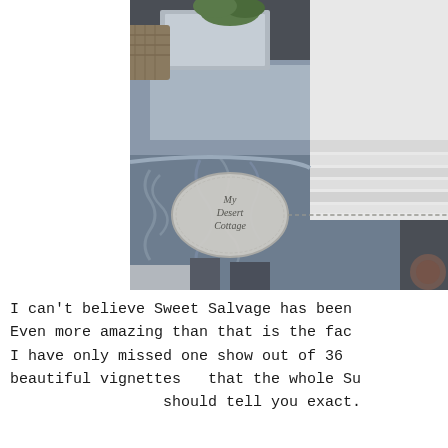[Figure (photo): A shabby-chic style bedroom vignette showing a grey painted ornate headboard or furniture piece with scrollwork, a white ruffled pillow/bedding, and decorative items on top including a tray with greenery. A watermark oval logo reading 'My Desert Cottage' is visible in the lower left of the photo.]
I can't believe Sweet Salvage has been
Even more amazing than that is the fac
I have only missed one show out of 36
beautiful vignettes  that the whole Su
               should tell you exact.